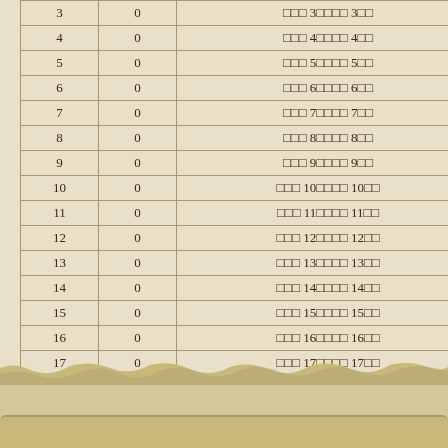|  |  |  |
| --- | --- | --- |
| 3 | 0 | □□□ 3□□□□ 3□□ |
| 4 | 0 | □□□ 4□□□□ 4□□ |
| 5 | 0 | □□□ 5□□□□ 5□□ |
| 6 | 0 | □□□ 6□□□□ 6□□ |
| 7 | 0 | □□□ 7□□□□ 7□□ |
| 8 | 0 | □□□ 8□□□□ 8□□ |
| 9 | 0 | □□□ 9□□□□ 9□□ |
| 10 | 0 | □□□ 10□□□□ 10□□ |
| 11 | 0 | □□□ 11□□□□ 11□□ |
| 12 | 0 | □□□ 12□□□□ 12□□ |
| 13 | 0 | □□□ 13□□□□ 13□□ |
| 14 | 0 | □□□ 14□□□□ 14□□ |
| 15 | 0 | □□□ 15□□□□ 15□□ |
| 16 | 0 | □□□ 16□□□□ 16□□ |
| 17 | 0 | □□□ 17□□□□ 17□□ |
| 18 | 0 | □□□ 18□□□□ 18□□ |
| 19 | 0 | □□□ 19□□□□ 19□□ |
| 20 | 0 | □□□ 20□□□□ 20□□ |
□□□□683□
□□